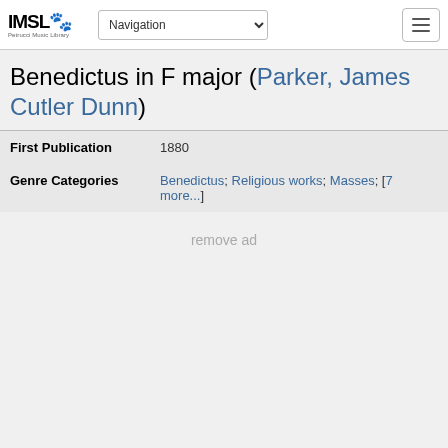IMSLP Petrucci Music Library — Navigation
Benedictus in F major (Parker, James Cutler Dunn)
| Field | Value |
| --- | --- |
| First Publication | 1880 |
| Genre Categories | Benedictus; Religious works; Masses; [7 more...] |
remove ad